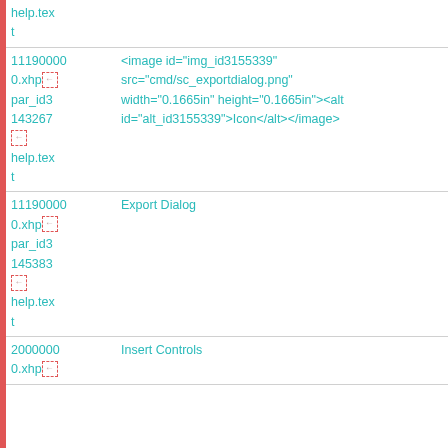| help.tex
t |  |
| 11190000.xhp
par_id3
143267
[icon]
help.tex
t | <image id="img_id3155339"
src="cmd/sc_exportdialog.png"
width="0.1665in" height="0.1665in"><alt
id="alt_id3155339">Icon</alt></antml:image> |
| 11190000.xhp
par_id3
145383
[icon]
help.tex
t | Export Dialog |
| 20000000.xhp | Insert Controls |